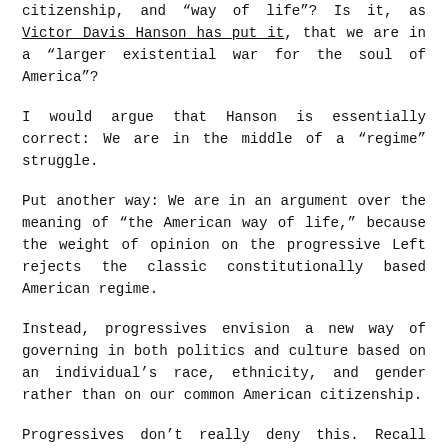citizenship, and “way of life”? Is it, as Victor Davis Hanson has put it, that we are in a “larger existential war for the soul of America”?
I would argue that Hanson is essentially correct: We are in the middle of a “regime” struggle.
Put another way: We are in an argument over the meaning of “the American way of life,” because the weight of opinion on the progressive Left rejects the classic constitutionally based American regime.
Instead, progressives envision a new way of governing in both politics and culture based on an individual’s race, ethnicity, and gender rather than on our common American citizenship.
Progressives don’t really deny this. Recall President Barack Obama, who in 2008 famously (or infamously) announced his administration would be “fundamentally transforming America.” America, as it actually existed at the time, was